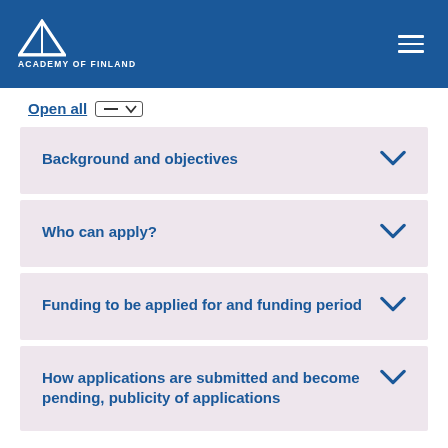ACADEMY OF FINLAND
Open all
Background and objectives
Who can apply?
Funding to be applied for and funding period
How applications are submitted and become pending, publicity of applications